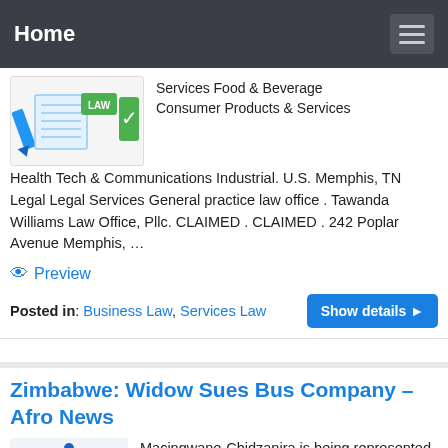Home
Services Food & Beverage Consumer Products & Services Health Tech & Communications Industrial. U.S. Memphis, TN Legal Legal Services General practice law office . Tawanda Williams Law Office, Pllc. CLAIMED . CLAIMED . 242 Poplar Avenue Memphis, …
Preview
Posted in: Business Law, Services Law
Show details
Zimbabwe: Widow Sues Bus Company – Afro News
Macingwane-Chidzanira is being represented by Ms Charity Tawanda of Tawanda Law Practice. CAG Tours